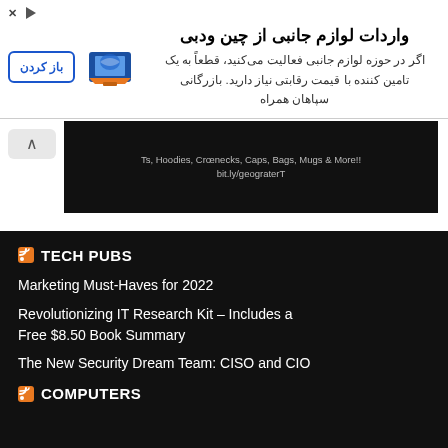[Figure (screenshot): Persian language advertisement banner for importing accessories from China. Contains close (X) and play (triangle) icons, Persian title 'واردات لوازم جانبی از چین ودبی', Persian body text, a blue globe/laptop logo on the right, and an 'باز کردن' (Open) button on the left.]
[Figure (screenshot): White page area with up-arrow navigation button on left and black banner ad showing text: 'Ts, Hoodies, Crœnecks, Caps, Bags, Mugs & More!! bit.ly/geograterT']
TECH PUBS
Marketing Must-Haves for 2022
Revolutionizing IT Research Kit – Includes a Free $8.50 Book Summary
The New Security Dream Team: CISO and CIO
COMPUTERS